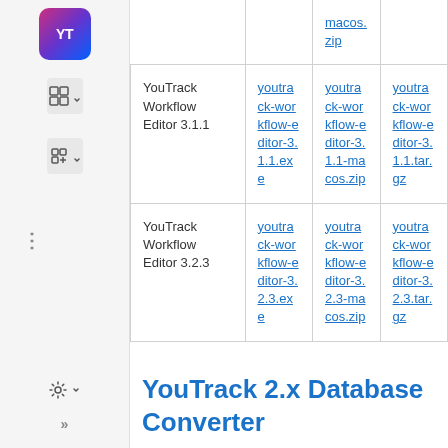| Product | Windows | macOS | Linux |
| --- | --- | --- | --- |
| YouTrack Workflow Editor 3.1.1 | youtrack-workflow-editor-3.1.1.exe | youtrack-workflow-editor-3.1.1-macos.zip | youtrack-workflow-editor-3.1.1.tar.gz |
| YouTrack Workflow Editor 3.2.3 | youtrack-workflow-editor-3.2.3.exe | youtrack-workflow-editor-3.2.3-macos.zip | youtrack-workflow-editor-3.2.3.tar.gz |
YouTrack 2.x Database Converter